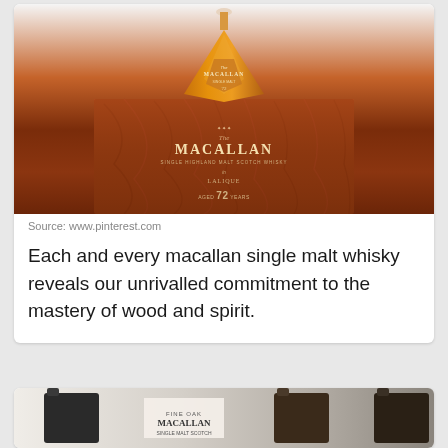[Figure (photo): The Macallan 72 Years aged single malt Scotch whisky in a crystal decanter by Lalique, shown with a dark reddish-brown wooden box with wood grain texture. Text on box reads MACALLAN, SINGLE HIGHLAND MALT SCOTCH WHISKY, in collaboration with LALIQUE, AGED 72 YEARS.]
Source: www.pinterest.com
Each and every macallan single malt whisky reveals our unrivalled commitment to the mastery of wood and spirit.
[Figure (photo): Partial view of Macallan Fine Oak whisky bottles at the bottom of the page.]